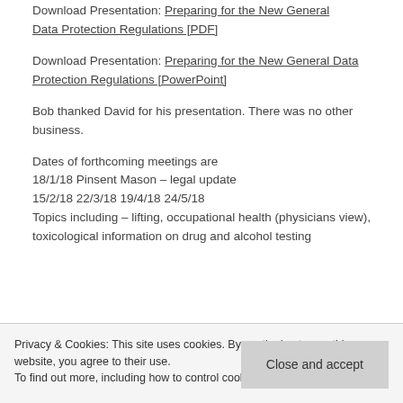Download Presentation: Preparing for the New General Data Protection Regulations [PDF]
Download Presentation: Preparing for the New General Data Protection Regulations [PowerPoint]
Bob thanked David for his presentation. There was no other business.
Dates of forthcoming meetings are
18/1/18 Pinsent Mason – legal update
15/2/18 22/3/18 19/4/18 24/5/18
Topics including – lifting, occupational health (physicians view), toxicological information on drug and alcohol testing
Privacy & Cookies: This site uses cookies. By continuing to use this website, you agree to their use.
To find out more, including how to control cookies, see here: Cookie Policy
Close and accept